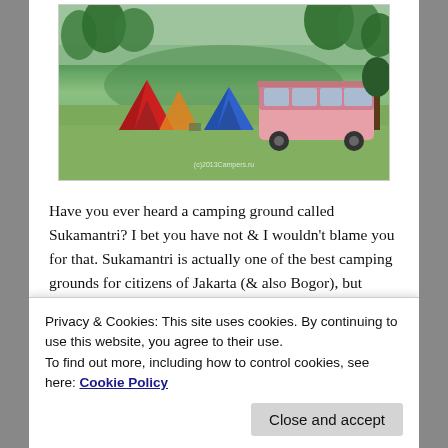[Figure (photo): Outdoor camping scene with colorful tents (red, orange, blue) and a vintage pink VW bus/camper van parked on green grass, with trees and hills in the background. Watermark text reads '(c)2013Campers.ru'.]
Have you ever heard a camping ground called Sukamantri? I bet you have not & I wouldn't blame you for that. Sukamantri is actually one of the best camping grounds for citizens of Jakarta (& also Bogor), but unfortunately it is not that popular compared to, for instance, Gunung Pancar & Gunung Bundar. I'd blame on the misled information regarding the difficulty to reach the
Privacy & Cookies: This site uses cookies. By continuing to use this website, you agree to their use.
To find out more, including how to control cookies, see here: Cookie Policy
we can drive any types of cars. You can trust me on this.